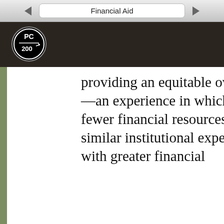Financial Aid
[Figure (logo): PC 200 logo — circular black badge with 'PC' on top and '200' on bottom, white text on black circle]
providing an equitable overall experience—an experience in which students with fewer financial resources can share in similar institutional experiences as those with greater financial
CONTENTS
COMMENTS
ACTIVITY
Research Team Blog
Future of Higher Education Research Team Report
How to Engage With This Site
Executive Summary
Introduction
Catholic Dominican Identity
Culture of Diversity, Equity, and Inclusion
Student Development